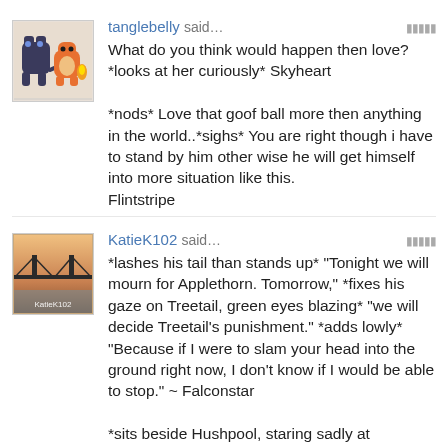[Figure (illustration): Avatar image showing Pokemon characters (Mew and Charmander) pixel art style]
tanglebelly said… What do you think would happen then love? *looks at her curiously* Skyheart

*nods* Love that goof ball more then anything in the world..*sighs* You are right though i have to stand by him other wise he will get himself into more situation like this.
Flintstripe
[Figure (photo): Avatar photo showing a bridge at sunset/dusk with username KatieK102]
KatieK102 said… *lashes his tail than stands up* "Tonight we will mourn for Applethorn. Tomorrow," *fixes his gaze on Treetail, green eyes blazing* "we will decide Treetail's punishment." *adds lowly* "Because if I were to slam your head into the ground right now, I don't know if I would be able to stop." ~ Falconstar

*sits beside Hushpool, staring sadly at Applethorn's body and thinking of